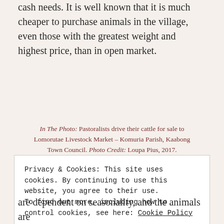cash needs. It is well known that it is much cheaper to purchase animals in the village, even those with the greatest weight and highest price, than in open market.
In The Photo: Pastoralists drive their cattle for sale to Lomorutae Livestock Market – Komuria Parish, Kaabong Town Council. Photo Credit: Loupa Pius, 2017.
Privacy & Cookies: This site uses cookies. By continuing to use this website, you agree to their use. To find out more, including how to control cookies, see here: Cookie Policy
Close and accept
are dependent on seasonality, and the animals are